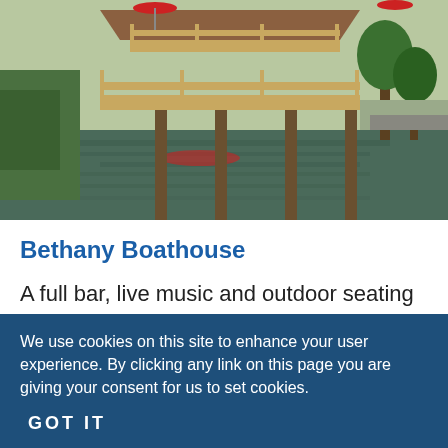[Figure (photo): Outdoor photo of the Bethany Boathouse restaurant, a multi-level wooden deck/boathouse structure built over a calm waterway. The building features wooden railings, a covered upper deck with patrons, red umbrella accents, and is surrounded by green vegetation. The water reflects the structure below.]
Bethany Boathouse
A full bar, live music and outdoor seating make this experience a true perfect
We use cookies on this site to enhance your user experience. By clicking any link on this page you are giving your consent for us to set cookies. More info
GOT IT